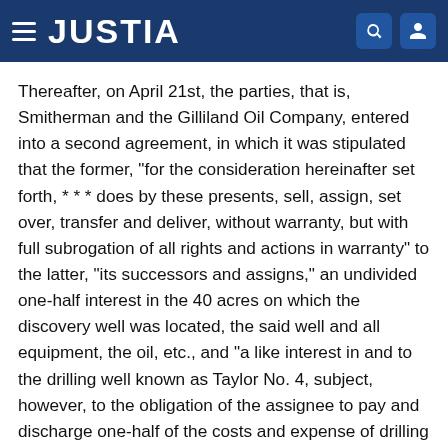JUSTIA
Thereafter, on April 21st, the parties, that is, Smitherman and the Gilliland Oil Company, entered into a second agreement, in which it was stipulated that the former, "for the consideration hereinafter set forth, * * * does by these presents, sell, assign, set over, transfer and deliver, without warranty, but with full subrogation of all rights and actions in warranty" to the latter, "its successors and assigns," an undivided one-half interest in the 40 acres on which the discovery well was located, the said well and all equipment, the oil, etc., and "a like interest in and to the drilling well known as Taylor No. 4, subject, however, to the obligation of the assignee to pay and discharge one-half of the costs and expense of drilling said well. * * *" The consideration stated was $600,000.00, "cash in hand paid, * * *" the receipt of which was acknowledged. It was further provided that